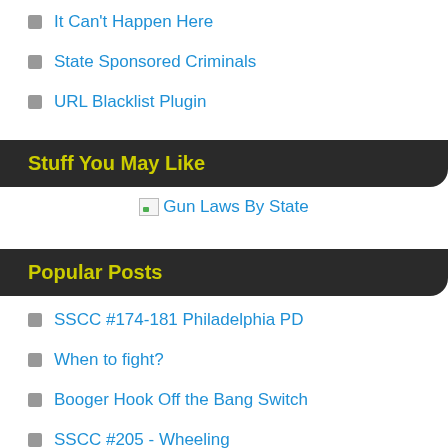It Can't Happen Here
State Sponsored Criminals
URL Blacklist Plugin
Stuff You May Like
[Figure (illustration): Gun Laws By State image placeholder with broken image icon]
Popular Posts
SSCC #174-181 Philadelphia PD
When to fight?
Booger Hook Off the Bang Switch
SSCC #205 - Wheeling